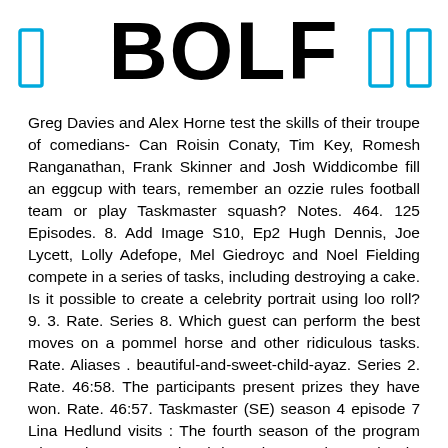BOLF
Greg Davies and Alex Horne test the skills of their troupe of comedians- Can Roisin Conaty, Tim Key, Romesh Ranganathan, Frank Skinner and Josh Widdicombe fill an eggcup with tears, remember an ozzie rules football team or play Taskmaster squash? Notes. 464. 125 Episodes. 8. Add Image S10, Ep2 Hugh Dennis, Joe Lycett, Lolly Adefope, Mel Giedroyc and Noel Fielding compete in a series of tasks, including destroying a cake. Is it possible to create a celebrity portrait using loo roll? 9. 3. Rate. Series 8. Which guest can perform the best moves on a pommel horse and other ridiculous tasks. Rate. Aliases . beautiful-and-sweet-child-ayaz. Series 2. Rate. 46:58. The participants present prizes they have won. Rate. 46:57. Taskmaster (SE) season 4 episode 7 Lina Hedlund visits : The fourth season of the program where nice trams and weird pranks are taken seriously. Do the most surprising thing with a rubber duck. Rate. Taskmaster S10E02. 8:40. Rate. G. 15. Series 4. There is also a ble with enter a first since elements for a compilation